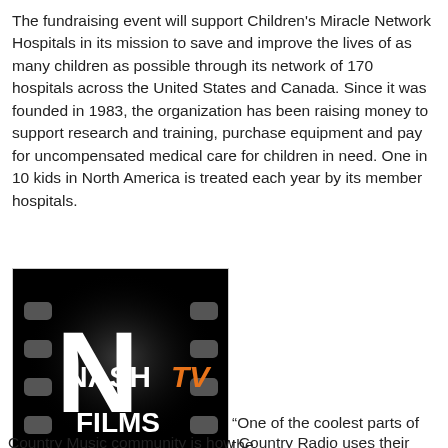The fundraising event will support Children's Miracle Network Hospitals in its mission to save and improve the lives of as many children as possible through its network of 170 hospitals across the United States and Canada. Since it was founded in 1983, the organization has been raising money to support research and training, purchase equipment and pay for uncompensated medical care for children in need. One in 10 kids in North America is treated each year by its member hospitals.
[Figure (logo): Nash TV Films logo — black film strip background with white 'N' letterform, 'NASH' in bold white, 'TV' in orange stylized text, and 'FILMS' in bold white below.]
“One of the coolest parts of the Country Music community is how Country Radio uses their